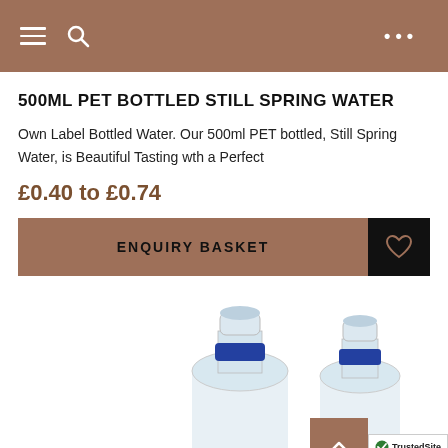Navigation header with menu and search icons
500ML PET BOTTLED STILL SPRING WATER
Own Label Bottled Water. Our 500ml PET bottled, Still Spring Water, is Beautiful Tasting wth a Perfect
£0.40 to £0.74
ENQUIRY BASKET
[Figure (photo): Two 500ml PET water bottles with blue caps, shown from the top portion, side by side on white background]